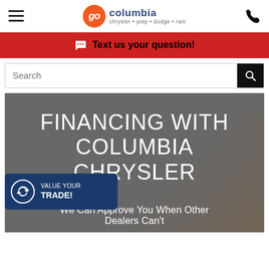Go Columbia Chrysler Jeep Dodge Ram
Text us your question!
Search
[Figure (screenshot): Hero image with gray overlay showing text 'FINANCING WITH COLUMBIA CHRYSLER' and subtitle 'We Can Approve You When Other Dealers Can't'. A blue trade-in badge reads 'VALUE YOUR TRADE!' with a recycle/sync icon.]
FINANCING WITH COLUMBIA CHRYSLER
We Can Approve You When Other Dealers Can't
VALUE YOUR TRADE!